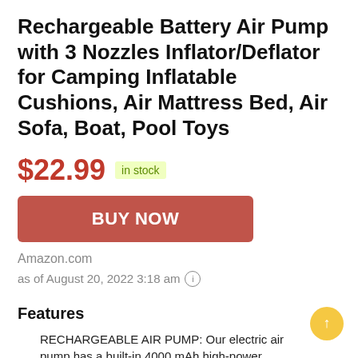Rechargeable Battery Air Pump with 3 Nozzles Inflator/Deflator for Camping Inflatable Cushions, Air Mattress Bed, Air Sofa, Boat, Pool Toys
$22.99  in stock
[Figure (other): Red BUY NOW button]
Amazon.com
as of August 20, 2022 3:18 am (i)
Features
RECHARGEABLE AIR PUMP: Our electric air pump has a built-in 4000 mAh high-power